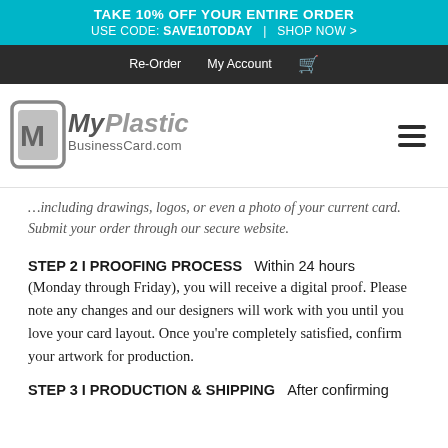TAKE 10% OFF YOUR ENTIRE ORDER  USE CODE: SAVE10TODAY  |  SHOP NOW >
Re-Order  My Account
[Figure (logo): MyPlastic BusinessCard.com logo with stylized 'M' icon and hamburger menu icon on the right]
...including drawings, logos, or even a photo of your current card.  Submit your order through our secure website.
STEP 2 I PROOFING PROCESS
Within 24 hours (Monday through Friday), you will receive a digital proof.  Please note any changes and our designers will work with you until you love your card layout.  Once you're completely satisfied, confirm your artwork for production.
STEP 3 I PRODUCTION & SHIPPING
After confirming